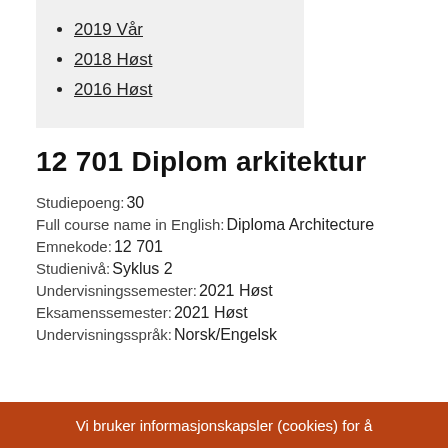2019 Vår
2018 Høst
2016 Høst
12 701 Diplom arkitektur
Studiepoeng: 30
Full course name in English: Diploma Architecture
Emnekode: 12 701
Studienivå: Syklus 2
Undervisningssemester: 2021 Høst
Eksamenssemester: 2021 Høst
Undervisningsspråk: Norsk/Engelsk
Vi bruker informasjonskapsler (cookies) for å